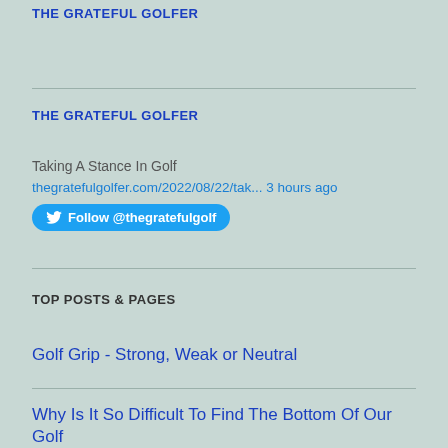THE GRATEFUL GOLFER
THE GRATEFUL GOLFER
Taking A Stance In Golf
thegratefulgolfer.com/2022/08/22/tak... 3 hours ago
Follow @thegratefulgolf
TOP POSTS & PAGES
Golf Grip - Strong, Weak or Neutral
Why Is It So Difficult To Find The Bottom Of Our Golf Swing?